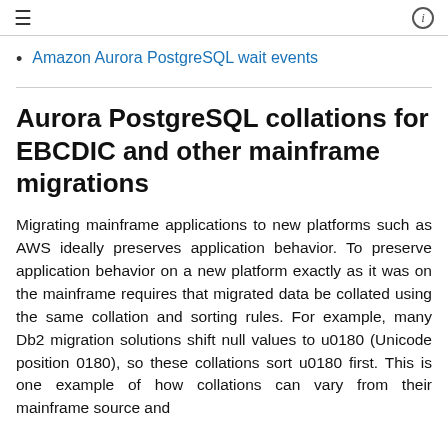≡  ⓘ
Amazon Aurora PostgreSQL wait events
Aurora PostgreSQL collations for EBCDIC and other mainframe migrations
Migrating mainframe applications to new platforms such as AWS ideally preserves application behavior. To preserve application behavior on a new platform exactly as it was on the mainframe requires that migrated data be collated using the same collation and sorting rules. For example, many Db2 migration solutions shift null values to u0180 (Unicode position 0180), so these collations sort u0180 first. This is one example of how collations can vary from their mainframe source and